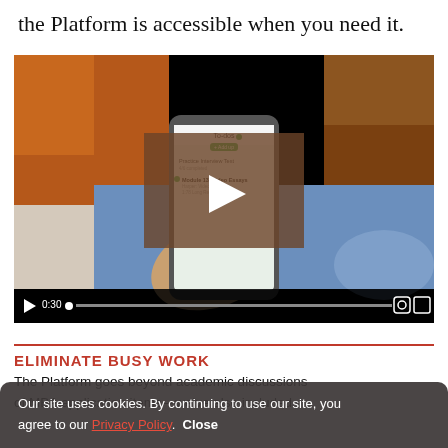the Platform is accessible when you need it.
[Figure (screenshot): Video player showing a person holding a smartphone with a to-dos app on screen, with playback controls (play button, 0:30 timestamp) overlaid on a dark control bar at bottom.]
ELIMINATE BUSY WORK
The Platform goes beyond academic discussions of MBA application items—we've also included
Our site uses cookies. By continuing to use our site, you agree to our Privacy Policy.  Close